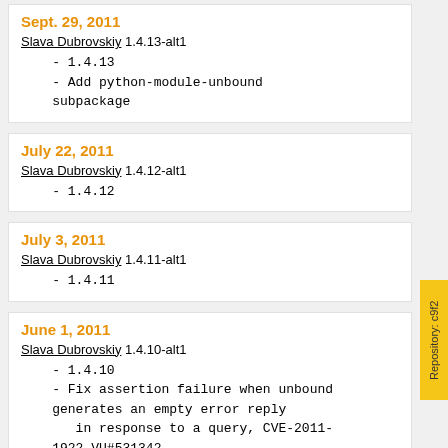Sept. 29, 2011
Slava Dubrovskiy 1.4.13-alt1
- 1.4.13
- Add python-module-unbound subpackage
July 22, 2011
Slava Dubrovskiy 1.4.12-alt1
- 1.4.12
July 3, 2011
Slava Dubrovskiy 1.4.11-alt1
- 1.4.11
June 1, 2011
Slava Dubrovskiy 1.4.10-alt1
- 1.4.10
- Fix assertion failure when unbound generates an empty error reply
   in response to a query, CVE-2011-1922 VU#531342